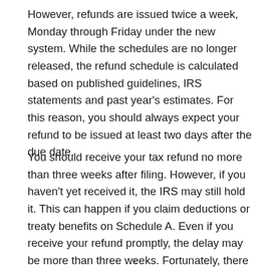However, refunds are issued twice a week, Monday through Friday under the new system. While the schedules are no longer released, the refund schedule is calculated based on published guidelines, IRS statements and past year's estimates. For this reason, you should always expect your refund to be issued at least two days after the due date.
You should receive your tax refund no more than three weeks after filing. However, if you haven't yet received it, the IRS may still hold it. This can happen if you claim deductions or treaty benefits on Schedule A. Even if you receive your refund promptly, the delay may be more than three weeks. Fortunately, there are ways to expedite the processing of your tax refund.
…the average tax refund was approximately $3000…
x